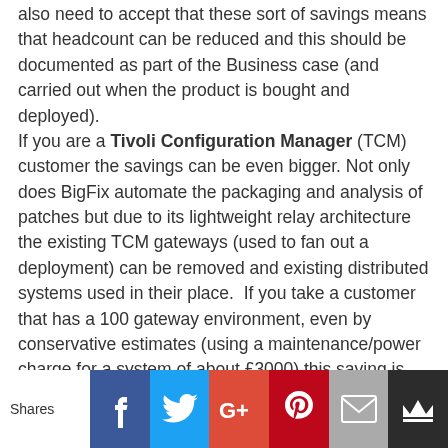also need to accept that these sort of savings means that headcount can be reduced and this should be documented as part of the Business case (and carried out when the product is bought and deployed).

If you are a Tivoli Configuration Manager (TCM) customer the savings can be even bigger. Not only does BigFix automate the packaging and analysis of patches but due to its lightweight relay architecture the existing TCM gateways (used to fan out a deployment) can be removed and existing distributed systems used in their place. If you take a customer that has a 100 gateway environment, even by conservative estimates (using a maintenance/power charge for a system of about £3000) this saving is over £300,000 a year. Customers should also remember that if they are a current TCM user you have a right to use the BigFix patching software